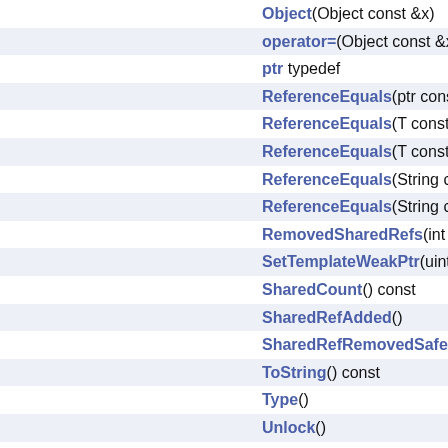Object(Object const &x)
operator=(Object const &x)
ptr typedef
ReferenceEquals(ptr const &
ReferenceEquals(T const &o
ReferenceEquals(T const &o
ReferenceEquals(String cons
ReferenceEquals(String cons
RemovedSharedRefs(int cou
SetTemplateWeakPtr(uint32_
SharedCount() const
SharedRefAdded()
SharedRefRemovedSafe()
ToString() const
Type()
Unlock()
WeakRefAdded()
WeakRefRemoved()
~Object()